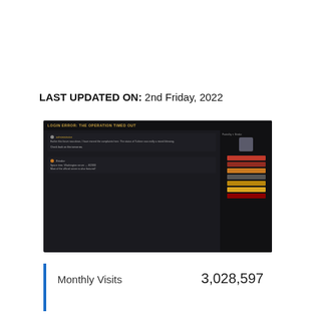LAST UPDATED ON: 2nd Friday, 2022
[Figure (screenshot): Dark-themed forum/gaming website screenshot showing posts with user avatars, text content, and a sidebar with navigation links in red, orange, and gold colors on a dark background]
Monthly Visits    3,028,597